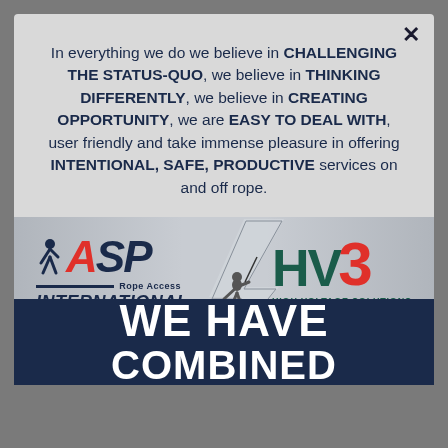In everything we do we believe in CHALLENGING THE STATUS-QUO, we believe in THINKING DIFFERENTLY, we believe in CREATING OPPORTUNITY, we are EASY TO DEAL WITH, user friendly and take immense pleasure in offering INTENTIONAL, SAFE, PRODUCTIVE services on and off rope.
[Figure (logo): ASP Rope Access International logo on the left, a lightning bolt with a person climbing in the center, and HV3 High Voltage Solutions logo on the right]
WE HAVE COMBINED